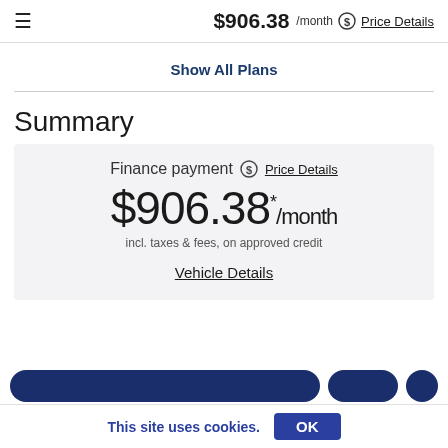$906.38 /month  Price Details
Show All Plans
Summary
Finance payment  Price Details
$906.38 */month
incl. taxes & fees, on approved credit
Vehicle Details